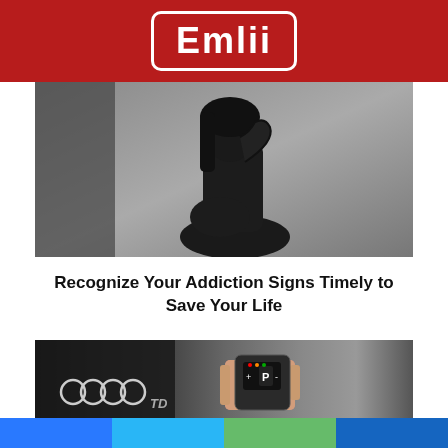Emlii
[Figure (photo): A person dressed in black sitting against a wall with their head down and hand on their face, suggesting distress or sadness.]
Recognize Your Addiction Signs Timely to Save Your Life
[Figure (photo): A hand holding a diagnostic device over an Audi TDI car engine, showing car maintenance or diagnostics.]